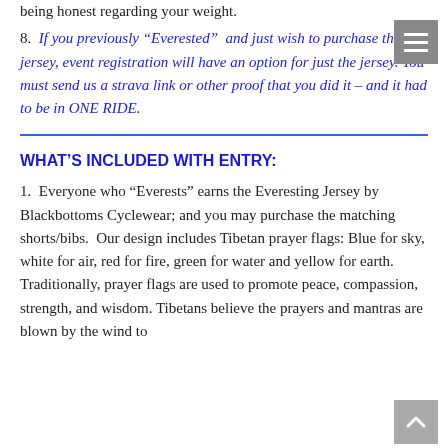being honest regarding your weight.
8.  If you previously “Everested”  and just wish to purchase the jersey, event registration will have an option for just the jersey. You must send us a strava link or other proof that you did it – and it had to be in ONE RIDE.
WHAT’S INCLUDED WITH ENTRY:
1.  Everyone who “Everests” earns the Everesting Jersey by Blackbottoms Cyclewear; and you may purchase the matching shorts/bibs.  Our design includes Tibetan prayer flags: Blue for sky, white for air, red for fire, green for water and yellow for earth.  Traditionally, prayer flags are used to promote peace, compassion, strength, and wisdom. Tibetans believe the prayers and mantras are blown by the wind to